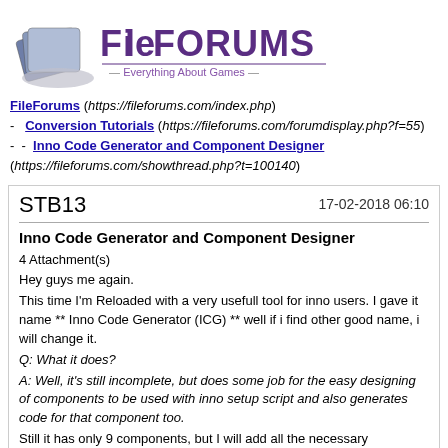[Figure (logo): FileForums logo with stacked cards icon and text 'FileFORUMS Everything About Games']
FileForums (https://fileforums.com/index.php) - Conversion Tutorials (https://fileforums.com/forumdisplay.php?f=55) - - Inno Code Generator and Component Designer (https://fileforums.com/showthread.php?t=100140)
STB13    17-02-2018 06:10
Inno Code Generator and Component Designer
4 Attachment(s)
Hey guys me again.
This time I'm Reloaded with a very usefull tool for inno users. I gave it name ** Inno Code Generator (ICG) ** well if i find other good name, i will change it.
Q: What it does?
A: Well, it's still incomplete, but does some job for the easy designing of components to be used with inno setup script and also generates code for that component too.
Still it has only 9 components, but I will add all the necessary components ASAP.
REQUEST:
Please let me know, which components should I add and which components should I remove